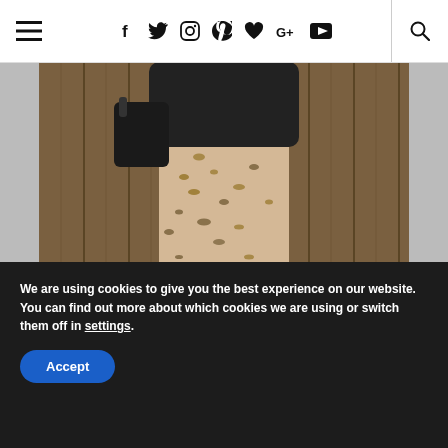Navigation bar with hamburger menu, social icons (Facebook, Twitter, Instagram, Pinterest, Bloglovin, Google+, YouTube), and search icon
[Figure (photo): A woman from the neck down wearing a leopard print midi skirt, black leather jacket, holding a black bag, and wearing red pointed-toe heels. She is standing on a sidewalk in front of a wooden fence.]
We are using cookies to give you the best experience on our website.
You can find out more about which cookies we are using or switch them off in settings.
Accept